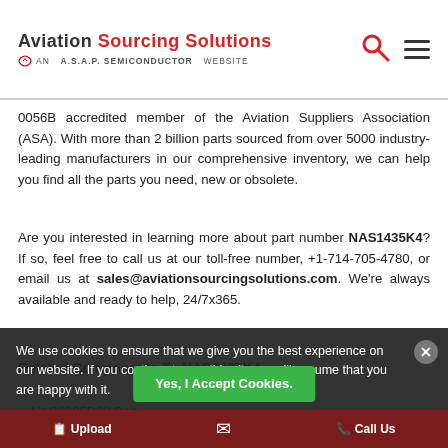Aviation Sourcing Solutions - AN A.S.A.P. SEMICONDUCTOR WEBSITE
0056B accredited member of the Aviation Suppliers Association (ASA). With more than 2 billion parts sourced from over 5000 industry-leading manufacturers in our comprehensive inventory, we can help you find all the parts you need, new or obsolete.
Are you interested in learning more about part number NAS1435K4? If so, feel free to call us at our toll-free number, +1-714-705-4780, or email us at sales@aviationsourcingsolutions.com. We're always available and ready to help, 24/7x365.
Related Components To NAS1435K4
NAS6605D23 Bolt
Messier-Dowty
NAS6605D26 Bolt
Messier-Dowty
NAS1142V5 Screw
Falcon Jet
We use cookies to ensure that we give you the best experience on our website. If you continue to use this site we will assume that you are happy with it.
Yes, I Accept Cookies.